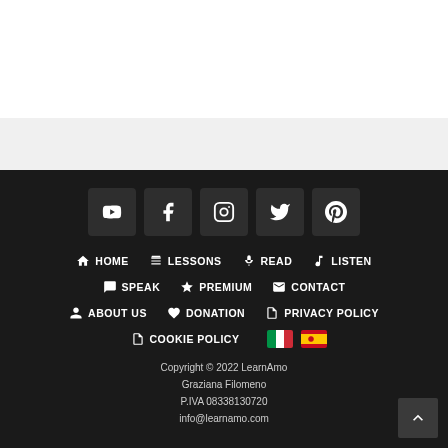[Figure (screenshot): White top area representing page content above footer]
[Figure (screenshot): Light gray separator band]
[Figure (infographic): Social media icons: YouTube, Facebook, Instagram, Twitter, Pinterest]
HOME
LESSONS
READ
LISTEN
SPEAK
PREMIUM
CONTACT
ABOUT US
DONATION
PRIVACY POLICY
COOKIE POLICY
[Figure (illustration): Italian flag and Spanish flag icons]
Copyright © 2022 LearnAmo
Graziana Filomeno
P.IVA 08338130720
info@learnamo.com